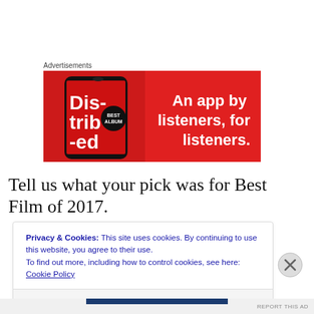Advertisements
[Figure (illustration): Red advertisement banner for a podcast/music app with smartphone image on left showing 'Distributed' text, and slogan 'An app by listeners, for listeners.' on the right in white bold text.]
Tell us what your pick was for Best Film of 2017.
Privacy & Cookies: This site uses cookies. By continuing to use this website, you agree to their use.
To find out more, including how to control cookies, see here: Cookie Policy
Close and accept